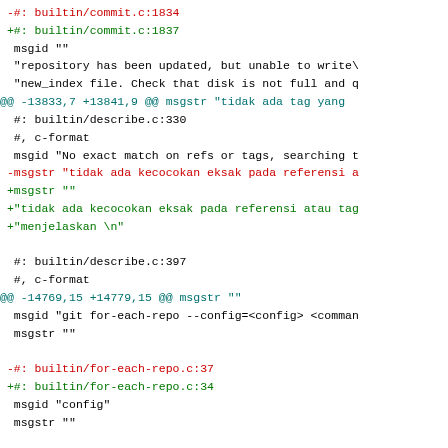Diff/patch file content showing changes to a .po translation file for git, including line references and msgid/msgstr entries for Indonesian localization.